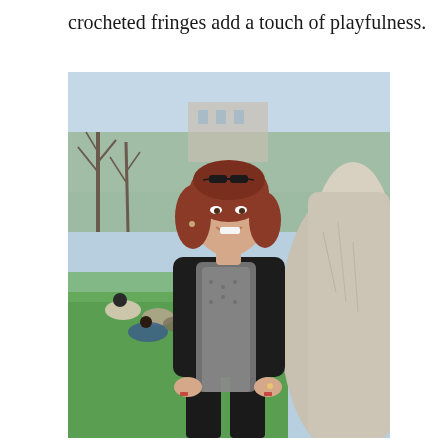crocheted fringes add a touch of playfulness.
[Figure (photo): A woman with shoulder-length auburn hair and sunglasses on her head, wearing a black blazer and a grey crocheted scarf, sits and smiles in an outdoor park setting. She is seated near a large stone sculpture or tree root. In the background are bare trees, greenery, and groups of people relaxing on the grass on a sunny day.]